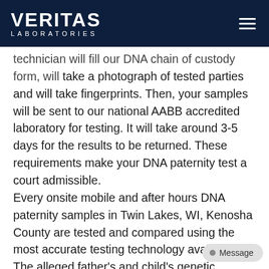VERITAS LABORATORIES
technician will fill our DNA chain of custody form, will take a photograph of tested parties and will take fingerprints. Then, your samples will be sent to our national AABB accredited laboratory for testing. It will take around 3-5 days for the results to be returned. These requirements make your DNA paternity test a court admissible. Every onsite mobile and after hours DNA paternity samples in Twin Lakes, WI, Kenosha County are tested and compared using the most accurate testing technology available. The alleged father's and child's genetic sample will be compared using the 21 genetic marker method. There is no room for inconclusive results. You will get a definite answer you are the fath…